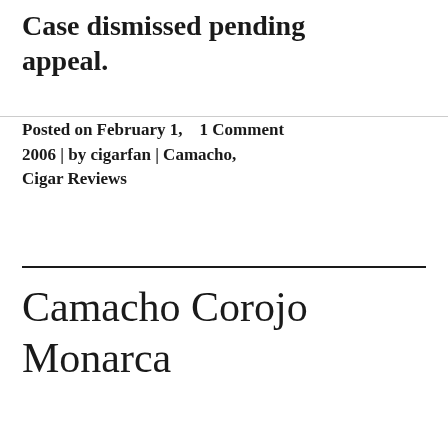Case dismissed pending appeal.
Posted on February 1, 2006 | by cigarfan | Camacho, Cigar Reviews    1 Comment
Camacho Corojo Monarca